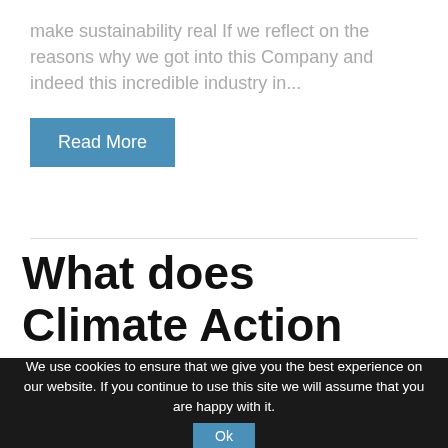make sustainability real If we reflect on the reasons why we got into this Company and indeed this incredible industry in...
Read More
What does Climate Action mean to us – Part 1 of 3:
We use cookies to ensure that we give you the best experience on our website. If you continue to use this site we will assume that you are happy with it. Ok